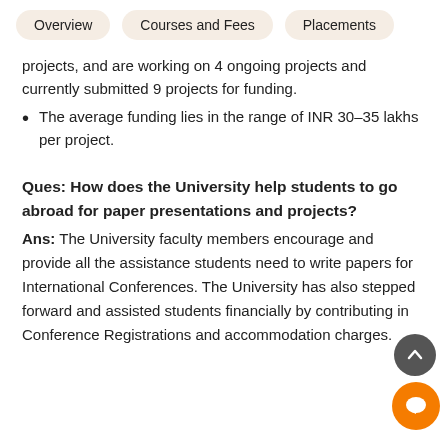Overview | Courses and Fees | Placements
projects, and are working on 4 ongoing projects and currently submitted 9 projects for funding.
The average funding lies in the range of INR 30-35 lakhs per project.
Ques: How does the University help students to go abroad for paper presentations and projects?
Ans: The University faculty members encourage and provide all the assistance students need to write papers for International Conferences. The University has also stepped forward and assisted students financially by contributing in Conference Registrations and accommodation charges.